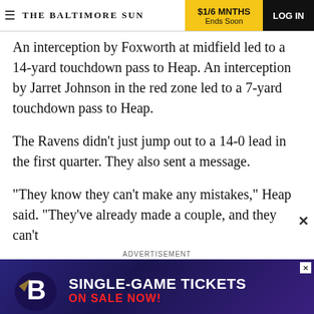THE BALTIMORE SUN | $1/6 MNTHS Ends Soon | LOG IN
An interception by Foxworth at midfield led to a 14-yard touchdown pass to Heap. An interception by Jarret Johnson in the red zone led to a 7-yard touchdown pass to Heap.
The Ravens didn't just jump out to a 14-0 lead in the first quarter. They also sent a message.
"They know they can't make any mistakes," Heap said. "They've already made a couple, and they can't
ADVERTISEMENT
[Figure (screenshot): Baltimore Ravens Single-Game Tickets On Sale Now advertisement banner with Ravens logo]